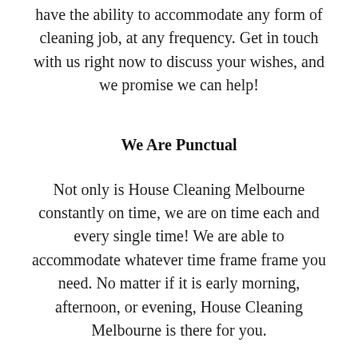have the ability to accommodate any form of cleaning job, at any frequency. Get in touch with us right now to discuss your wishes, and we promise we can help!
We Are Punctual
Not only is House Cleaning Melbourne constantly on time, we are on time each and every single time! We are able to accommodate whatever time frame frame you need. No matter if it is early morning, afternoon, or evening, House Cleaning Melbourne is there for you.
We Are Affordable
Have you thought of employing the services of a cleaning company but thought it was way too